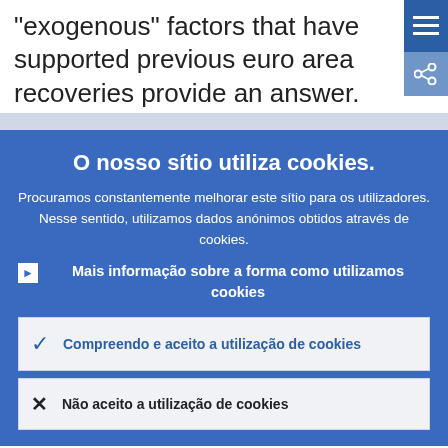"exogenous" factors that have supported previous euro area recoveries provide an answer.
[Figure (screenshot): Blue hamburger menu button (three horizontal lines) on the right side]
O nosso sítio utiliza cookies.
Procuramos constantemente melhorar este sítio para os utilizadores. Nesse sentido, utilizamos dados anónimos obtidos através de cookies.
Mais informação sobre a forma como utilizamos cookies
Compreendo e aceito a utilização de cookies
Não aceito a utilização de cookies